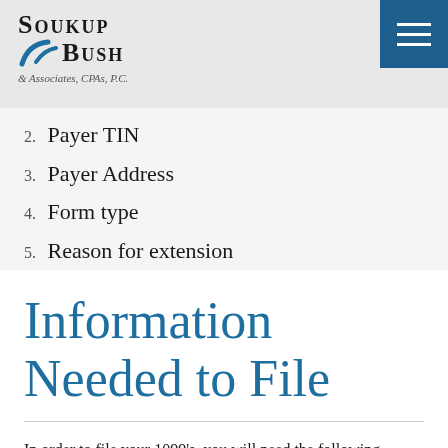Soukup Bush & Associates, CPAs, P.C.
2. Payer TIN
3. Payer Address
4. Form type
5. Reason for extension
Information Needed to File
In order to file your 1099’s, you will need the following information: